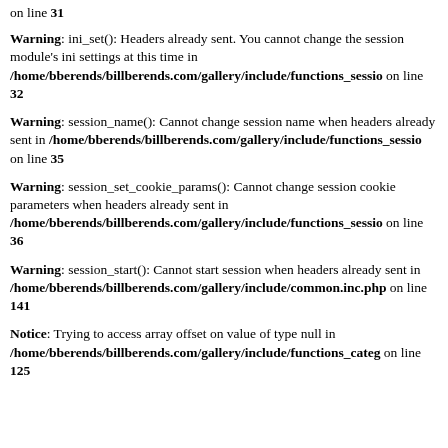on line 31
Warning: ini_set(): Headers already sent. You cannot change the session module's ini settings at this time in /home/bberends/billberends.com/gallery/include/functions_sessio on line 32
Warning: session_name(): Cannot change session name when headers already sent in /home/bberends/billberends.com/gallery/include/functions_sessio on line 35
Warning: session_set_cookie_params(): Cannot change session cookie parameters when headers already sent in /home/bberends/billberends.com/gallery/include/functions_sessio on line 36
Warning: session_start(): Cannot start session when headers already sent in /home/bberends/billberends.com/gallery/include/common.inc.php on line 141
Notice: Trying to access array offset on value of type null in /home/bberends/billberends.com/gallery/include/functions_categ on line 125